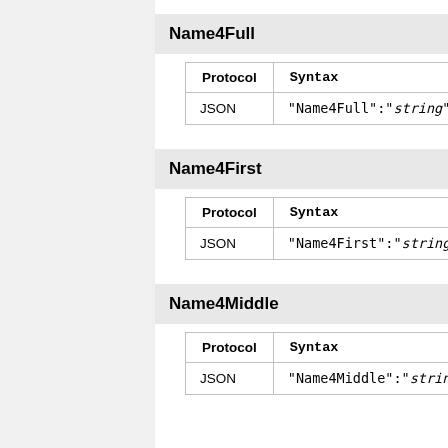Name4Full
| Protocol | Syntax |
| --- | --- |
| JSON | "Name4Full":"string" |
Name4First
| Protocol | Syntax |
| --- | --- |
| JSON | "Name4First":"string" |
Name4Middle
| Protocol | Syntax |
| --- | --- |
| JSON | "Name4Middle":"string" |